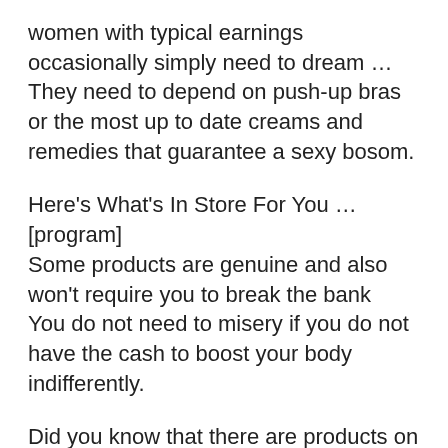women with typical earnings occasionally simply need to dream … They need to depend on push-up bras or the most up to date creams and remedies that guarantee a sexy bosom.
Here's What's In Store For You … [program] Some products are genuine and also won't require you to break the bank
You do not need to misery if you do not have the cash to boost your body indifferently.
Did you know that there are products on the market today that are genuine, that have been medically formulated to do good things for your cleavage without investing a fortune?